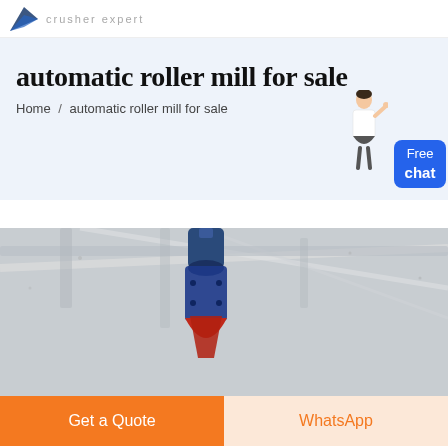crusher expert
automatic roller mill for sale
Home / automatic roller mill for sale
Free chat
[Figure (photo): Industrial roller mill machinery photographed from below inside a factory building, showing blue/red mechanical components against a light industrial ceiling with structural beams.]
Get a Quote
WhatsApp